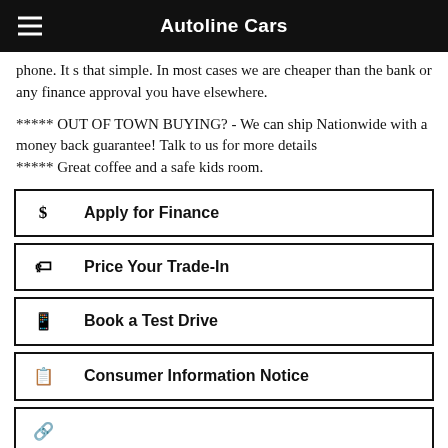Autoline Cars
phone. It s that simple. In most cases we are cheaper than the bank or any finance approval you have elsewhere.

***** OUT OF TOWN BUYING? - We can ship Nationwide with a money back guarantee! Talk to us for more details
***** Great coffee and a safe kids room.
$ Apply for Finance
Price Your Trade-In
Book a Test Drive
Consumer Information Notice